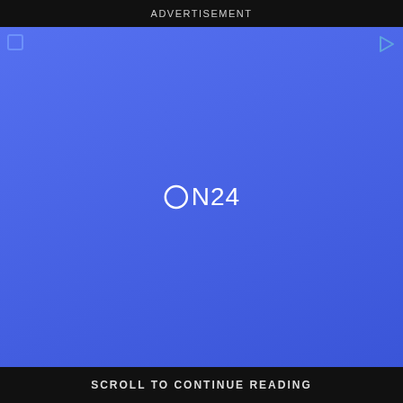ADVERTISEMENT
[Figure (logo): ON24 logo in white text centered on a blue gradient background, with small corner icons (a square outline icon top-left and a play button icon top-right)]
SCROLL TO CONTINUE READING